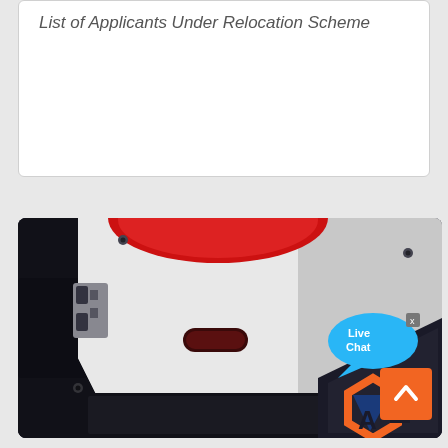List of Applicants Under Relocation Scheme
[Figure (photo): Close-up photograph of an industrial machine (likely a wire bending or metalworking machine) showing a white metal plate with a dark red oval sensor/indicator, mechanical components, black housing, with a blue Live Chat bubble overlay in top right and orange/blue logo watermark in bottom right corner. An orange scroll-to-top button with upward chevron is visible in the bottom right.]